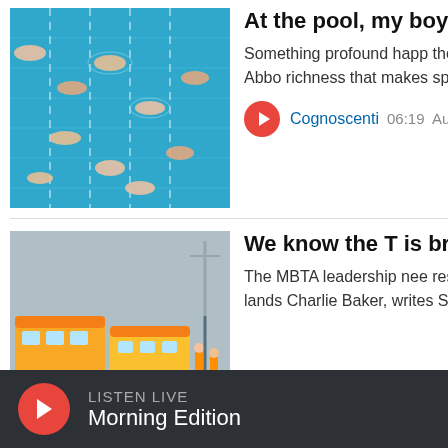[Figure (photo): Swimmers in a bright blue public pool, aerial view]
At the pool, my boy can be like everyone else
Something profound happ the public pool, with all its display, writes Alysia Abbo richness that makes space of differences, including...
Cognoscenti  06:19  Au
[Figure (photo): MBTA train/tram workers doing repairs on the tracks, yellow trams visible]
We know the T is broken. make repairs easier for ri
The MBTA leadership nee responsibility for recent fa the blame ultimately lands Charlie Baker, writes Stac
LISTEN LIVE
Morning Edition
Get thoughtful commentaries and essays sent to your inbox every Sunday.
Your ema
SIGN UP